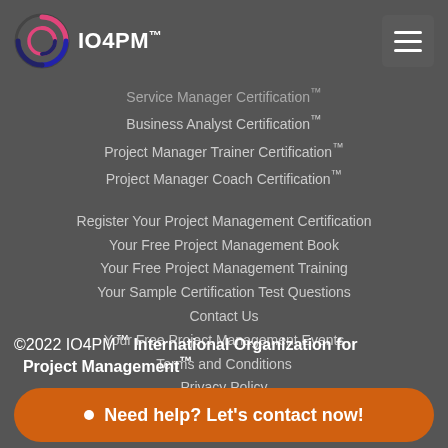IO4PM™
Service Manager Certification™
Business Analyst Certification™
Project Manager Trainer Certification™
Project Manager Coach Certification™
Register Your Project Management Certification
Your Free Project Management Book
Your Free Project Management Training
Your Sample Certification Test Questions
Contact Us
Your Free Project Management Events
Terms and Conditions
Privacy Policy
©2022 IO4PM™ International Organization for Project Management™
Need help? Let's contact now!